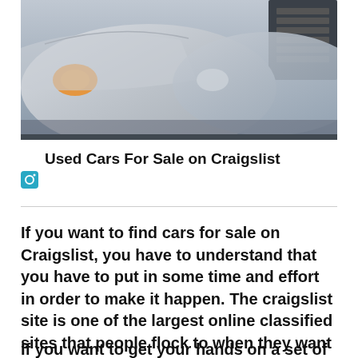[Figure (photo): Row of silver/white cars parked closely together, front view showing headlights and grilles]
Used Cars For Sale on Craigslist
If you want to find cars for sale on Craigslist, you have to understand that you have to put in some time and effort in order to make it happen. The craigslist site is one of the largest online classified sites that people flock to when they want to sell something.
If you want to get your hands on a set of cars that are